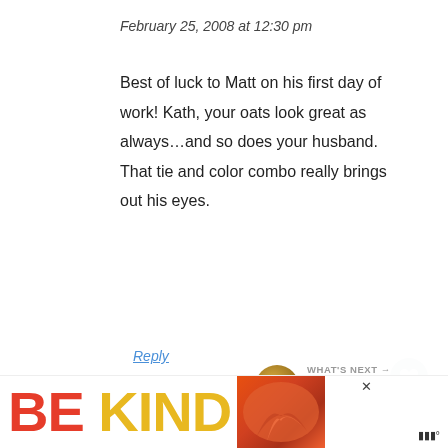February 25, 2008 at 12:30 pm
Best of luck to Matt on his first day of work! Kath, your oats look great as always...and so does your husband. That tie and color combo really brings out his eyes.
Reply
Serena says
February 25, 2008 at 12:38 pm
[Figure (infographic): BE KIND advertisement banner with colorful decorative graphic]
WHAT'S NEXT → Run, Stretch, Eat